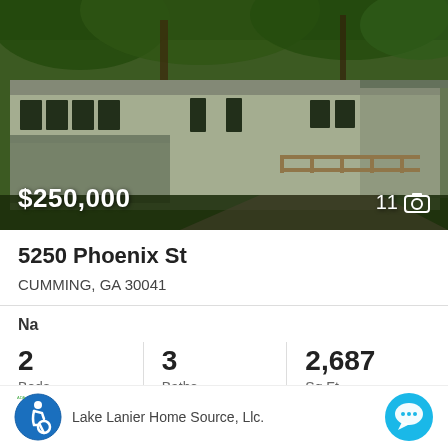[Figure (photo): Exterior photo of a single-story white house surrounded by green trees, with a wooden fence visible. Price overlay shows $250,000 and photo count of 11.]
5250 Phoenix St
CUMMING, GA 30041
Na
2 Beds
3 Baths
2,687 Sq.Ft.
Lake Lanier Home Source, Llc.